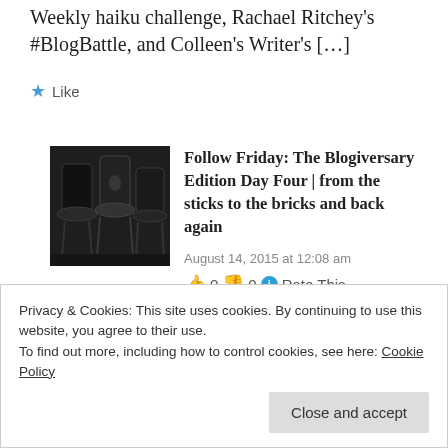Weekly haiku challenge, Rachael Ritchey's #BlogBattle, and Colleen's Writer's […]
★ Like
[Figure (photo): Thumbnail photo of black chairs in a dark setting]
Follow Friday: The Blogiversary Edition Day Four | from the sticks to the bricks and back again
August 14, 2015 at 12:08 am
👍 0 👎 0 ℹ Rate This
Privacy & Cookies: This site uses cookies. By continuing to use this website, you agree to their use.
To find out more, including how to control cookies, see here: Cookie Policy
Close and accept
challenge and Unique Art Chic's Word Snap Weekly Challenge as well as